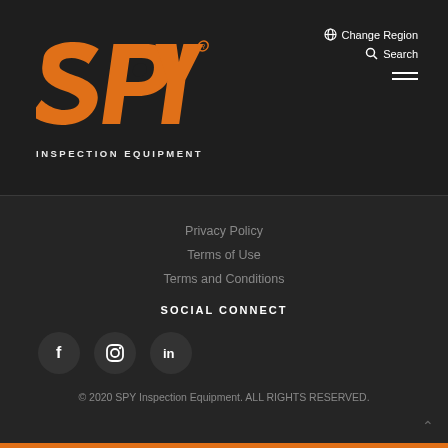[Figure (logo): SPY Inspection Equipment logo — orange bold italic SPY text with registered trademark, and INSPECTION EQUIPMENT in white below]
Change Region
Search
Privacy Policy
Terms of Use
Terms and Conditions
SOCIAL CONNECT
[Figure (illustration): Three social media icons in dark circles: Facebook (f), Instagram, LinkedIn (in)]
© 2020 SPY Inspection Equipment. ALL RIGHTS RESERVED.